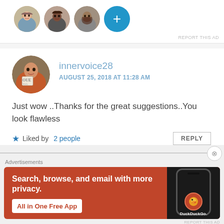[Figure (screenshot): Top section showing avatar row with three circular profile photos and a blue plus button, from a social/blog comment interface. REPORT THIS AD text appears below.]
innervoice28
AUGUST 25, 2018 AT 11:28 AM
Just wow ..Thanks for the great suggestions..You look flawless
Liked by 2 people
REPLY
Advertisements
[Figure (screenshot): DuckDuckGo advertisement banner with orange/red background. Text: Search, browse, and email with more privacy. All in One Free App. Shows a phone with DuckDuckGo logo.]